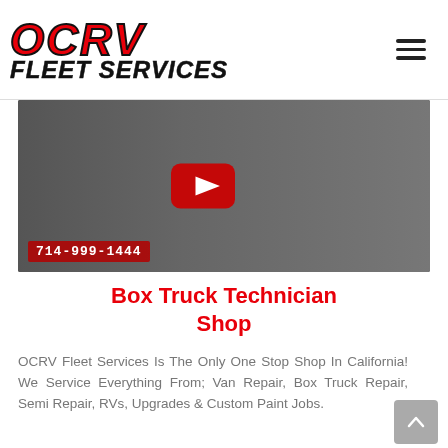[Figure (logo): OCRV Fleet Services logo with red italic OCRV text and black italic FLEET SERVICES text below]
[Figure (screenshot): YouTube video thumbnail showing a man standing in front of RVs/trucks with a YouTube play button overlay and phone number 714-999-1444 at the bottom]
Box Truck Technician Shop
OCRV Fleet Services Is The Only One Stop Shop In California! We Service Everything From; Van Repair, Box Truck Repair, Semi Repair, RVs, Upgrades & Custom Paint Jobs.